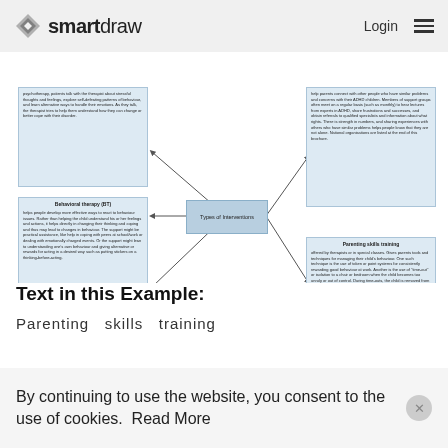smartdraw | Login
[Figure (flowchart): Mind map titled 'Types of Interventions' with nodes: Behavioral therapy (BT), Social skills training, Parenting skills training, and two unlabeled text blocks on the left and right sides connected by arrows to the central node.]
Source: National Institute of Mental Health, National Institutes of Health. www.nimh.nih.gov
Text in this Example:
Parenting   skills   training
By continuing to use the website, you consent to the use of cookies.   Read More